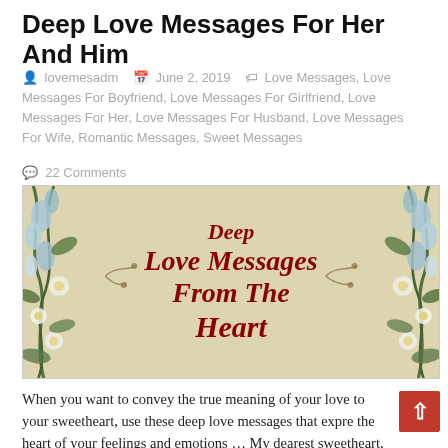Deep Love Messages For Her And Him
lovemesadm   June 2, 2019   Love Messages, Love Messages For Boyfriend, Love Messages For Girlfriend, Love Messages For Her, Love Messages For Husband, Love Messages For Wife, Romantic Messages, Sweet Messages
22 Comments
[Figure (illustration): Decorative banner image with floral border elements (blue and white flowers, green leaves) on left and right sides. Parchment/cream textured background with dark red serif italic text reading: Deep / Love Messages / From The / Heart. Small ornamental scroll/vine decorations around the text.]
When you want to convey the true meaning of your love to your sweetheart, use these deep love messages that expre the heart of your feelings and emotions … My dearest sweetheart, I want you to know how deeply and eternally you touched